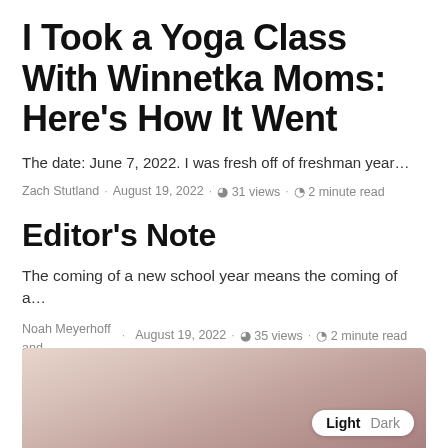I Took a Yoga Class With Winnetka Moms: Here’s How It Went
The date: June 7, 2022. I was fresh off of freshman year…
Zach Stutland · August 19, 2022 · 31 views · 2 minute read
Editor’s Note
The coming of a new school year means the coming of a…
Noah Meyerhoff and Eli Austin · August 19, 2022 · 35 views · 2 minute read
[Figure (photo): A photo showing a person in a light pink shirt, partially visible, with a Light/Dark toggle button overlay in the bottom right corner.]